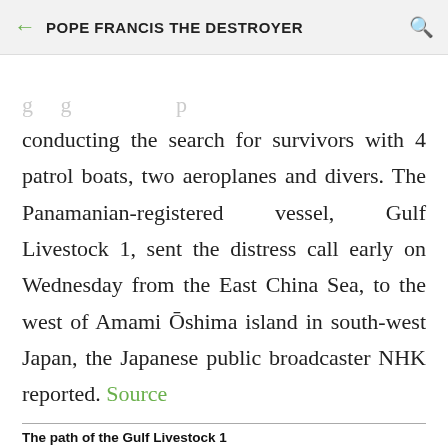POPE FRANCIS THE DESTROYER
conducting the search for survivors with 4 patrol boats, two aeroplanes and divers. The Panamanian-registered vessel, Gulf Livestock 1, sent the distress call early on Wednesday from the East China Sea, to the west of Amami Ōshima island in south-west Japan, the Japanese public broadcaster NHK reported. Source
The path of the Gulf Livestock 1
The Gulf Livestock 1 departed Napier in New Zealand on Aug. 14 with 5,867 cattle and 43 crew members on board, bound for the Port of Jingtang in Tangshan, China. The vessel sent a distress call near Okinawa before going missing in strong winds and rains from Typhoon Maysak.
[Figure (map): Partial map preview showing ocean area with text label OKINOERABUJIMA]